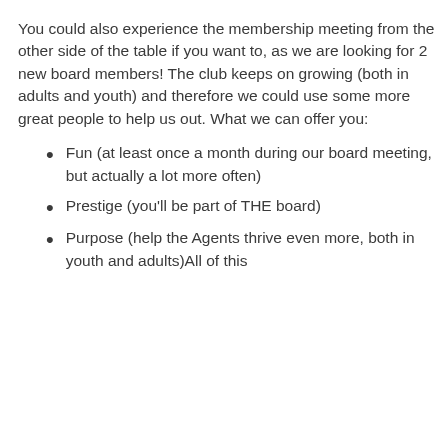You could also experience the membership meeting from the other side of the table if you want to, as we are looking for 2 new board members! The club keeps on growing (both in adults and youth) and therefore we could use some more great people to help us out. What we can offer you:
Fun (at least once a month during our board meeting, but actually a lot more often)
Prestige (you'll be part of THE board)
Purpose (help the Agents thrive even more, both in youth and adults)All of this